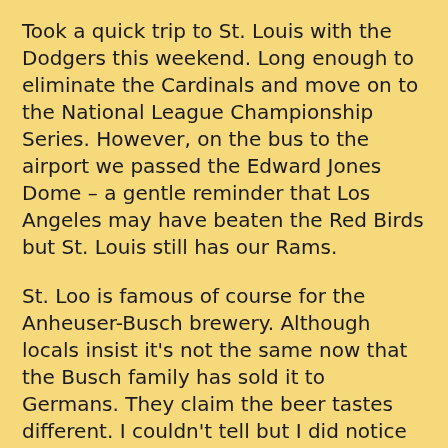Took a quick trip to St. Louis with the Dodgers this weekend. Long enough to eliminate the Cardinals and move on to the National League Championship Series. However, on the bus to the airport we passed the Edward Jones Dome – a gentle reminder that Los Angeles may have beaten the Red Birds but St. Louis still has our Rams.
St. Loo is famous of course for the Anheuser-Busch brewery. Although locals insist it's not the same now that the Busch family has sold it to Germans. They claim the beer tastes different. I couldn't tell but I did notice the Clydesdales goosestepping in a recent parade.
St. Louis in the fall is highly preferable to St. Louis in the spring when there are floods, the winter when there are blizzards, and the summer when it is so hot and humid it's like living in Fidel Castro's mouth. The leaves were beginning to change, there was a crispness in the air, and late day shadows from the Budweiser billboards blanketed much of the city.
The signature Gateway Arch stands tall and shimmers, still